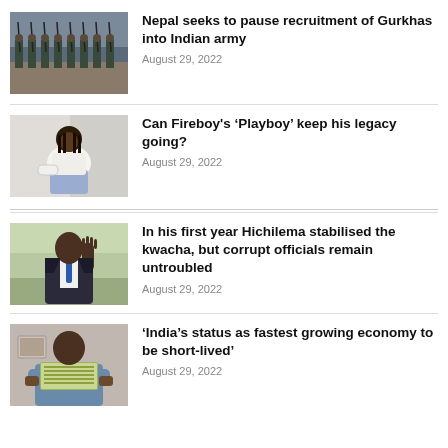[Figure (photo): Soldiers with rifles in formation, military parade scene]
Nepal seeks to pause recruitment of Gurkhas into Indian army
August 29, 2022
[Figure (photo): Young man with dreadlocks sitting cross-legged, wearing white top and jeans]
Can Fireboy's ‘Playboy’ keep his legacy going?
August 29, 2022
[Figure (photo): Man in suit with blue tie raising his hand as if waving]
In his first year Hichilema stabilised the kwacha, but corrupt officials remain untroubled
August 29, 2022
[Figure (photo): Person holding a large stack of paper currency/banknotes]
‘India’s status as fastest growing economy to be short-lived’
August 29, 2022